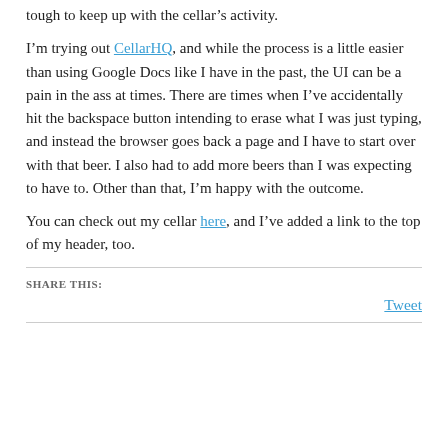tough to keep up with the cellar’s activity.
I’m trying out CellarHQ, and while the process is a little easier than using Google Docs like I have in the past, the UI can be a pain in the ass at times. There are times when I’ve accidentally hit the backspace button intending to erase what I was just typing, and instead the browser goes back a page and I have to start over with that beer. I also had to add more beers than I was expecting to have to. Other than that, I’m happy with the outcome.
You can check out my cellar here, and I’ve added a link to the top of my header, too.
SHARE THIS:
Tweet